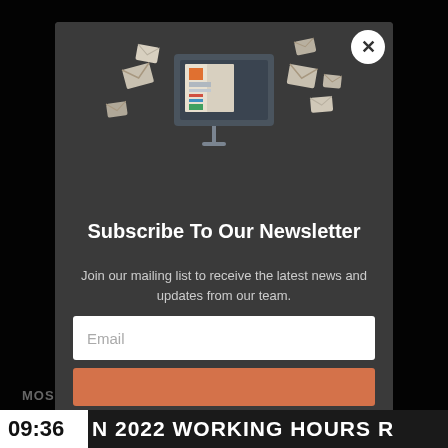[Figure (illustration): Newsletter subscription modal popup with an illustration of a computer monitor surrounded by flying envelopes, on a dark overlay background]
Subscribe To Our Newsletter
Join our mailing list to receive the latest news and updates from our team.
Email
09:36 N 2022 WORKING HOURS R